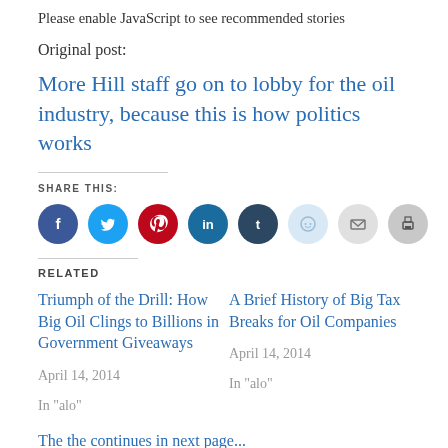Please enable JavaScript to see recommended stories
Original post:
More Hill staff go on to lobby for the oil industry, because this is how politics works
SHARE THIS:
[Figure (infographic): Row of social share icon buttons: Facebook (blue), Twitter (light blue), Pinterest (red), LinkedIn (dark teal), Tumblr (dark navy), Reddit (light blue), Email (light gray), Print (gray)]
RELATED
Triumph of the Drill: How Big Oil Clings to Billions in Government Giveaways
April 14, 2014
In "alo"
A Brief History of Big Tax Breaks for Oil Companies
April 14, 2014
In "alo"
The the continues in next page...